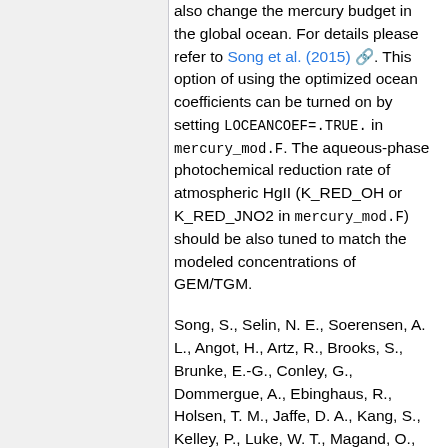also change the mercury budget in the global ocean. For details please refer to Song et al. (2015). This option of using the optimized ocean coefficients can be turned on by setting LOCEANCOEF=.TRUE. in mercury_mod.F. The aqueous-phase photochemical reduction rate of atmospheric HgII (K_RED_OH or K_RED_JNO2 in mercury_mod.F) should be also tuned to match the modeled concentrations of GEM/TGM.
Song, S., Selin, N. E., Soerensen, A. L., Angot, H., Artz, R., Brooks, S., Brunke, E.-G., Conley, G., Dommergue, A., Ebinghaus, R., Holsen, T. M., Jaffe, D. A., Kang, S., Kelley, P., Luke, W. T., Magand, O., Marumoto, K., Pfaffhuber, K. A., Ren, X., Sheu, G.-R., Slemr, F., Warneke,